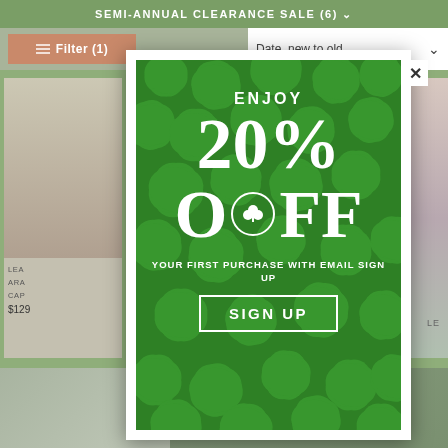SEMI-ANNUAL CLEARANCE SALE (6)
Filter (1)
Date, new to old
[Figure (screenshot): E-commerce page background showing product listings with a modal popup overlay on a green clover/shamrock background promoting 20% off with email sign up]
ENJOY 20% OFF
YOUR FIRST PURCHASE WITH EMAIL SIGN UP
SIGN UP